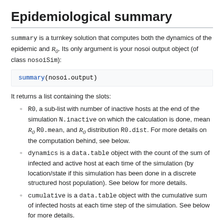Epidemiological summary
summary is a turnkey solution that computes both the dynamics of the epidemic and R_0. Its only argument is your nosoi output object (of class nosoiSim):
summary(nosoi.output)
It returns a list containing the slots:
R0, a sub-list with number of inactive hosts at the end of the simulation N.inactive on which the calculation is done, mean R_0 R0.mean, and R_0 distribution R0.dist. For more details on the computation behind, see below.
dynamics is a data.table object with the count of the sum of infected and active host at each time of the simulation (by location/state if this simulation has been done in a discrete structured host population). See below for more details.
cumulative is a data.table object with the cumulative sum of infected hosts at each time step of the simulation. See below for more details.